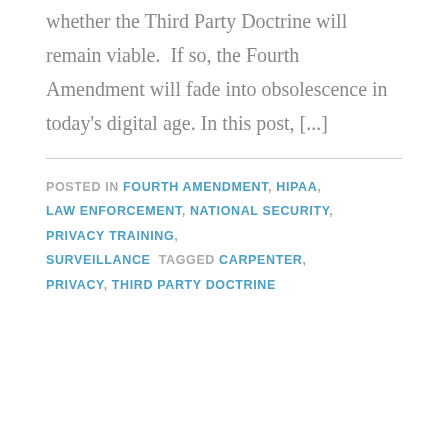whether the Third Party Doctrine will remain viable.  If so, the Fourth Amendment will fade into obsolescence in today's digital age. In this post, [...]
POSTED IN FOURTH AMENDMENT, HIPAA, LAW ENFORCEMENT, NATIONAL SECURITY, PRIVACY TRAINING, SURVEILLANCE  TAGGED CARPENTER, PRIVACY, THIRD PARTY DOCTRINE